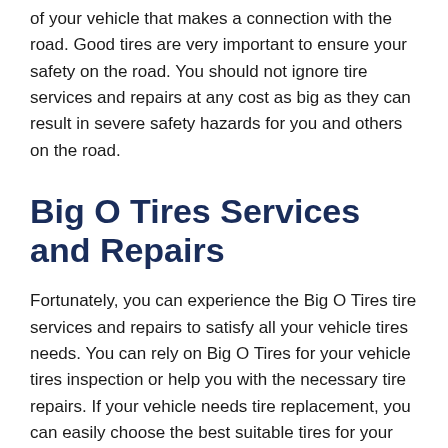of your vehicle that makes a connection with the road. Good tires are very important to ensure your safety on the road. You should not ignore tire services and repairs at any cost as big as they can result in severe safety hazards for you and others on the road.
Big O Tires Services and Repairs
Fortunately, you can experience the Big O Tires tire services and repairs to satisfy all your vehicle tires needs. You can rely on Big O Tires for your vehicle tires inspection or help you with the necessary tire repairs. If your vehicle needs tire replacement, you can easily choose the best suitable tires for your vehicle from a wide range of